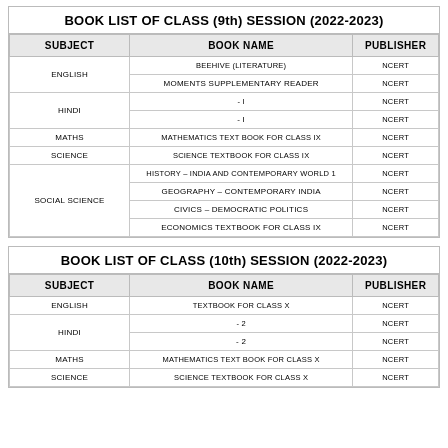BOOK LIST OF CLASS (9th) SESSION (2022-2023)
| SUBJECT | BOOK NAME | PUBLISHER |
| --- | --- | --- |
| ENGLISH | BEEHIVE (LITERATURE) | NCERT |
| ENGLISH | MOMENTS SUPPLEMENTARY READER | NCERT |
| HINDI | - I | NCERT |
| HINDI | - I | NCERT |
| MATHS | MATHEMATICS TEXT BOOK FOR CLASS IX | NCERT |
| SCIENCE | SCIENCE TEXTBOOK FOR CLASS IX | NCERT |
| SOCIAL SCIENCE | HISTORY – INDIA AND CONTEMPORARY WORLD 1 | NCERT |
| SOCIAL SCIENCE | GEOGRAPHY – CONTEMPORARY INDIA | NCERT |
| SOCIAL SCIENCE | CIVICS – DEMOCRATIC POLITICS | NCERT |
| SOCIAL SCIENCE | ECONOMICS TEXTBOOK FOR CLASS IX | NCERT |
BOOK LIST OF CLASS (10th) SESSION (2022-2023)
| SUBJECT | BOOK NAME | PUBLISHER |
| --- | --- | --- |
| ENGLISH | TEXTBOOK FOR CLASS X | NCERT |
| HINDI | - 2 | NCERT |
| HINDI | - 2 | NCERT |
| MATHS | MATHEMATICS TEXT BOOK FOR CLASS X | NCERT |
| SCIENCE | SCIENCE TEXTBOOK FOR CLASS X | NCERT |